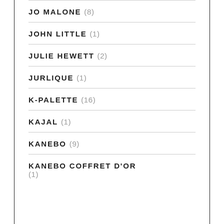JO MALONE (8)
JOHN LITTLE (1)
JULIE HEWETT (2)
JURLIQUE (1)
K-PALETTE (16)
KAJAL (1)
KANEBO (9)
KANEBO COFFRET D'OR (1)